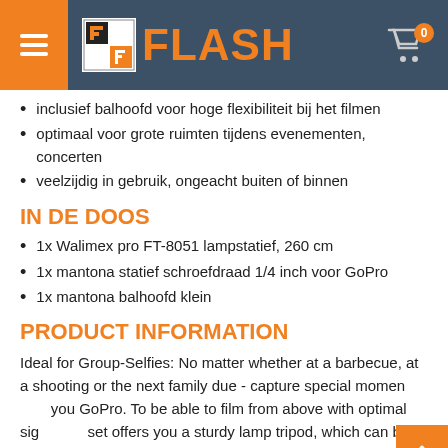FLASH
inclusief balhoofd voor hoge flexibiliteit bij het filmen
optimaal voor grote ruimten tijdens evenementen, concerten
veelzijdig in gebruik, ongeacht buiten of binnen
IN DE DOOS
1x Walimex pro FT-8051 lampstatief, 260 cm
1x mantona statief schroefdraad 1/4 inch voor GoPro
1x mantona balhoofd klein
PRODUCT INFORMATION
Ideal for Group-Selfies: No matter whether at a barbecue, at a shooting or the next family due - capture special moments with you GoPro. To be able to film from above with optimal sight, this set offers you a sturdy lamp tripod, which can be extended to a